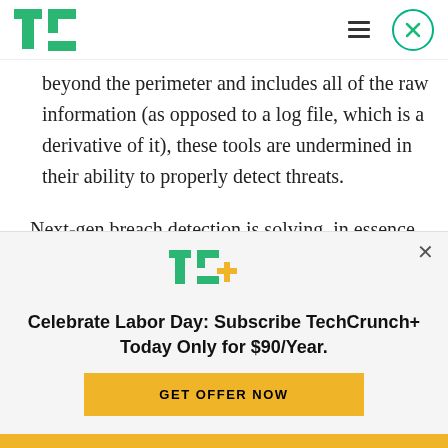TechCrunch logo, hamburger menu, close button
beyond the perimeter and includes all of the raw information (as opposed to a log file, which is a derivative of it), these tools are undermined in their ability to properly detect threats.
Next-gen breach detection is solving, in essence, a classic big-data problem: To be effective, these
[Figure (logo): TechCrunch+ logo in green and yellow]
Celebrate Labor Day: Subscribe TechCrunch+ Today Only for $90/Year.
GET OFFER NOW